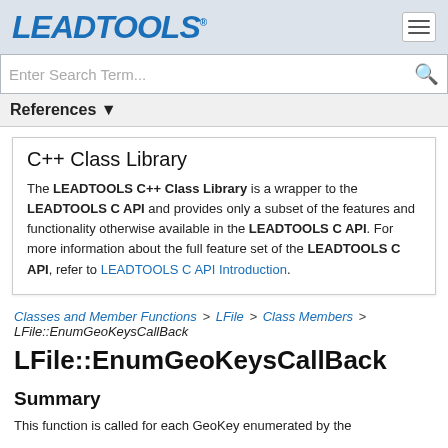LEADTOOLS® (logo)
Enter Search Term...
References ▼
C++ Class Library
The LEADTOOLS C++ Class Library is a wrapper to the LEADTOOLS C API and provides only a subset of the features and functionality otherwise available in the LEADTOOLS C API. For more information about the full feature set of the LEADTOOLS C API, refer to LEADTOOLS C API Introduction.
Classes and Member Functions > LFile > Class Members > LFile::EnumGeoKeysCallBack
LFile::EnumGeoKeysCallBack
Summary
This function is called for each GeoKey enumerated by the